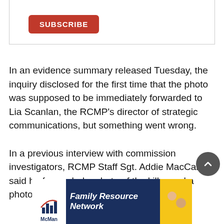[Figure (other): Subscribe button UI element within a bordered box]
In an evidence summary released Tuesday, the inquiry disclosed for the first time that the photo was supposed to be immediately forwarded to Lia Scanlan, the RCMP's director of strategic communications, but something went wrong.
In a previous interview with commission investigators, RCMP Staff Sgt. Addie MacCallum said he forwarded a photo of the killer and a photo of his replica car to Scanlan
[Figure (other): McMan Family Resource Network advertisement banner with logo and circular photos]